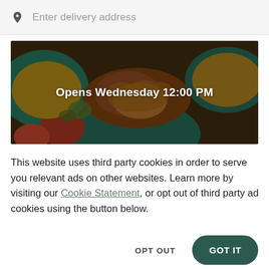Enter delivery address
[Figure (photo): Overhead view of food dishes including rice, fried chicken, salads on teal/blue plates with a dark overlay. Text overlay reads 'Opens Wednesday 12:00 PM']
This website uses third party cookies in order to serve you relevant ads on other websites. Learn more by visiting our Cookie Statement, or opt out of third party ad cookies using the button below.
OPT OUT
GOT IT